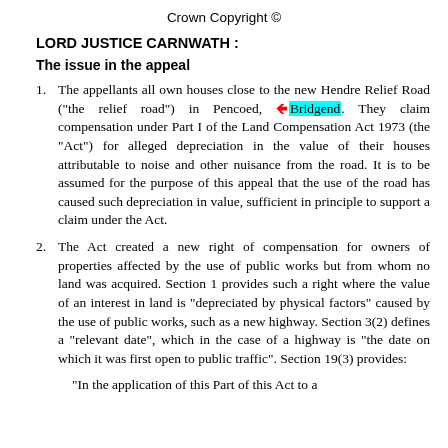Crown Copyright ©
LORD JUSTICE CARNWATH :
The issue in the appeal
The appellants all own houses close to the new Hendre Relief Road ("the relief road") in Pencoed, Bridgend. They claim compensation under Part I of the Land Compensation Act 1973 (the "Act") for alleged depreciation in the value of their houses attributable to noise and other nuisance from the road. It is to be assumed for the purpose of this appeal that the use of the road has caused such depreciation in value, sufficient in principle to support a claim under the Act.
The Act created a new right of compensation for owners of properties affected by the use of public works but from whom no land was acquired. Section 1 provides such a right where the value of an interest in land is "depreciated by physical factors" caused by the use of public works, such as a new highway. Section 3(2) defines a "relevant date", which in the case of a highway is "the date on which it was first open to public traffic". Section 19(3) provides:
"In the application of this Part of this Act to a